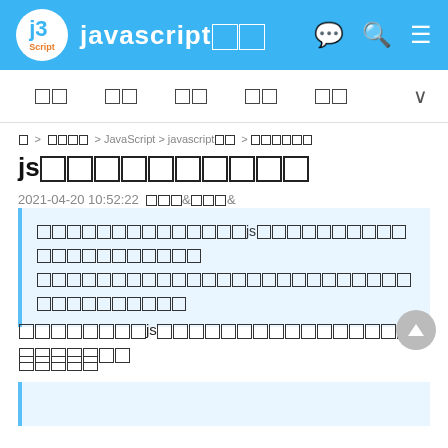javascript□□ (site header with logo and navigation icons)
□□  □□  □□  □□  □□  ∨ (navigation bar)
□ > □□□□ > JavaScript > javascript□□ > js□□□□□□ (breadcrumb)
js□□□□□□□□□□
2021-04-20 10:52:22  □□□&□□□&
□□□□□□□□□□□□□□□js□□□□□□□□□□□□□□□□□□□□□□□
□□□□□□□□□□□□□□□□□□□□□□□□□□□□□□□□□□□□□
□□□□□□□□js□□□□□□□□□□□□□□□□□□□□□□□□□□□□□□
□□□□□
(partial quote block begins)